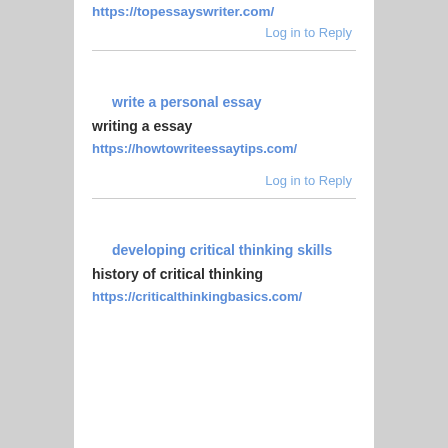https://topessayswriter.com/
Log in to Reply
write a personal essay
writing a essay
https://howtowriteessaytips.com/
Log in to Reply
developing critical thinking skills
history of critical thinking
https://criticalthinkingbasics.com/